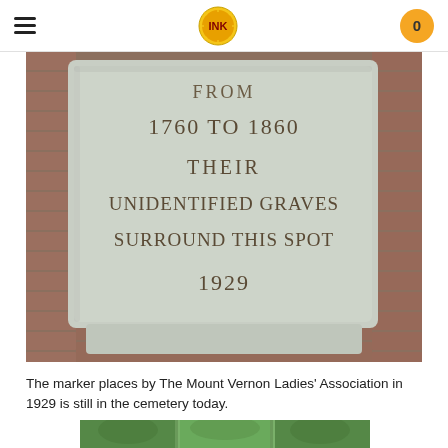INK logo with hamburger menu and cart badge showing 0
[Figure (photo): Close-up photograph of a light grey granite/marble cemetery marker stone engraved with the text: FROM / 1760 TO 1860 / THEIR / UNIDENTIFIED GRAVES / SURROUND THIS SPOT / 1929. The stone rests on a brick surface surrounded by greenery.]
The marker places by The Mount Vernon Ladies' Association in 1929 is still in the cemetery today.
[Figure (photo): Partial view of a cemetery surrounded by green trees, cropped at the bottom of the page.]